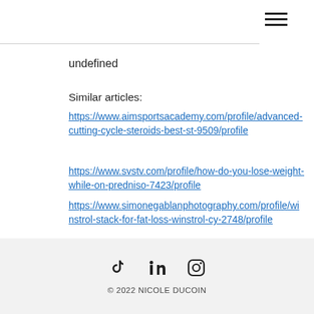≡
undefined
Similar articles:
https://www.aimsportsacademy.com/profile/advanced-cutting-cycle-steroids-best-st-9509/profile
https://www.svstv.com/profile/how-do-you-lose-weight-while-on-predniso-7423/profile
https://www.simonegablanphotography.com/profile/winstrol-stack-for-fat-loss-winstrol-cy-2748/profile
https://www.ring5199.com/profile/sarms-cycle-for-weight-loss-best-sarms-4703/profile
© 2022 NICOLE DUCOIN